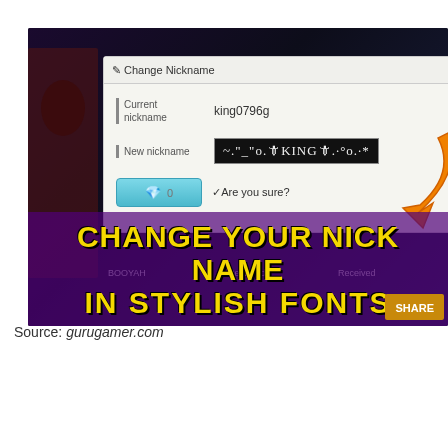[Figure (screenshot): Free Fire game screenshot showing 'Change Nickname' dialog with stylish fonts. The dialog shows 'Current nickname: king0796g' and 'New nickname' field with decorative text. A large orange arrow points to the nickname field. Yellow text overlaid reads 'CHANGE YOUR NICK NAME IN STYLISH FONTS'. Top right corner shows 'FREE FIRE' logo in yellow.]
Source: gurugamer.com